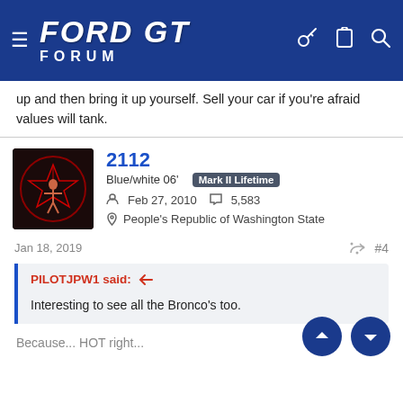FORD GT FORUM
up and then bring it up yourself. Sell your car if you're afraid values will tank.
2112
Blue/white 06' Mark II Lifetime
Feb 27, 2010  5,583
People's Republic of Washington State
Jan 18, 2019  #4
PILOTJPW1 said:
Interesting to see all the Bronco's too.
Because... HOT right...